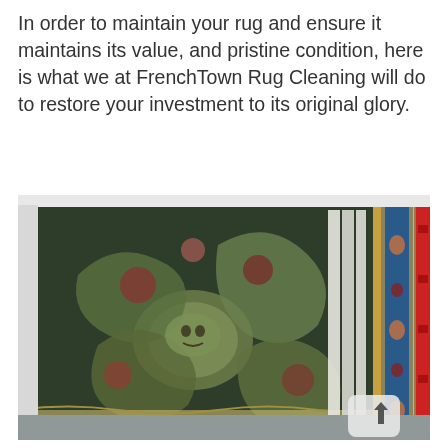In order to maintain your rug and ensure it maintains its value, and pristine condition, here is what we at FrenchTown Rug Cleaning will do to restore your investment to its original glory.
[Figure (photo): Photograph of ornate decorative rugs displayed vertically in a cleaning facility. The large foreground rug features elaborate green and red baroque/floral patterns with a face motif. Behind it are blue-bordered rugs with medallion patterns. Red storage racks are visible on the right. An up-arrow button icon appears in the bottom-right corner of the photo.]